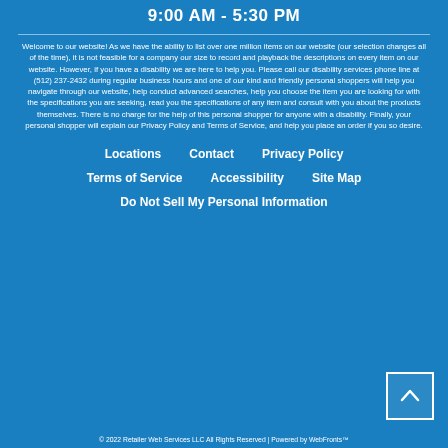9:00 AM - 5:30 PM
Welcome to our website! As we have the ability to list over one million items on our website (our selection changes all of the time), it is not feasible for a company our size to record and playback the descriptions on every item on our website. However, if you have a disability we are here to help you. Please call our disability services phone line at (512) 237-2432 during regular business hours and one of our kind and friendly personal shoppers will help you navigate through our website, help conduct advanced searches, help you choose the item you are looking for with the specifications you are seeking, read you the specifications of any item and consult with you about the products themselves. There is no charge for the help of this personal shopper for anyone with a disability. Finally, your personal shopper will explain our Privacy Policy and Terms of Service, and help you place an order if you so desire.
Locations
Contact
Privacy Policy
Terms of Service
Accessibility
Site Map
Do Not Sell My Personal Information
© 2022 Retailer Web Services LLC All Rights Reserved | Powered by WebFronts™